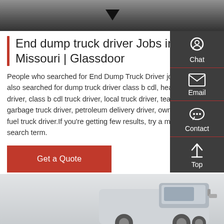[Figure (photo): Top portion of a dark/black vehicle or road scene, grayscale]
End dump truck driver Jobs in Missouri | Glassdoor
People who searched for End Dump Truck Driver jobs in Missouri also searched for dump truck driver class b cdl, heavy haul truck driver, class b cdl truck driver, local truck driver, team truck driver, garbage truck driver, petroleum delivery driver, owner operator, fuel truck driver.If you're getting few results, try a more general search term.
[Figure (screenshot): Get a Quote red button]
[Figure (photo): Bottom portion showing a semi truck cab against a light sky background]